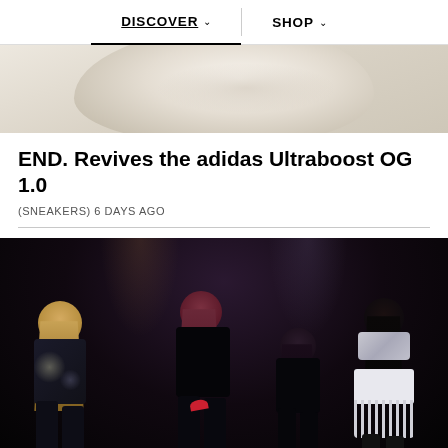DISCOVER  SHOP
[Figure (photo): Close-up of a white sneaker (adidas Ultraboost) on a light beige background, showing the knitted upper detail]
END. Revives the adidas Ultraboost OG 1.0
(SNEAKERS) 6 DAYS AGO
[Figure (photo): Four female K-pop performers on a dark stage, wearing sparkly/sequin outfits in black and silver, performing at a concert]